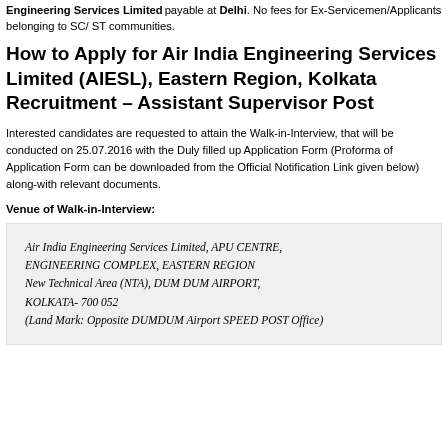Engineering Services Limited payable at Delhi. No fees for Ex-Servicemen/Applicants belonging to SC/ ST communities.
How to Apply for Air India Engineering Services Limited (AIESL), Eastern Region, Kolkata Recruitment – Assistant Supervisor Post
Interested candidates are requested to attain the Walk-in-Interview, that will be conducted on 25.07.2016 with the Duly filled up Application Form (Proforma of Application Form can be downloaded from the Official Notification Link given below) along-with relevant documents.
Venue of Walk-in-Interview:
Air India Engineering Services Limited, APU CENTRE, ENGINEERING COMPLEX, EASTERN REGION New Technical Area (NTA), DUM DUM AIRPORT, KOLKATA- 700 052 (Land Mark: Opposite DUMDUM Airport SPEED POST Office)